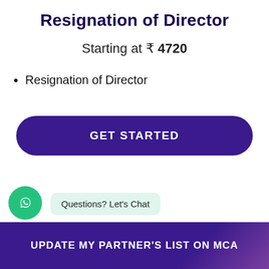Resignation of Director
Starting at ₹ 4720
Resignation of Director
GET STARTED
Questions? Let's Chat
UPDATE MY PARTNER'S LIST ON MCA